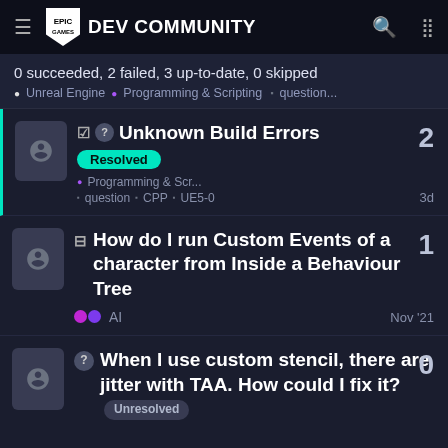Epic Games DEV COMMUNITY
0 succeeded, 2 failed, 3 up-to-date, 0 skipped • Unreal Engine • Programming & Scripting ■ question...
☑ ? Unknown Build Errors — Resolved — • Programming & Scr... ■ question ■ CPP ■ UE5-0 — 3d — replies: 2
⊟ How do I run Custom Events of a character from Inside a Behaviour Tree — •• AI — Nov '21 — replies: 1
? When I use custom stencil, there are jitter with TAA. How could I fix it? Unresolved — replies: 0